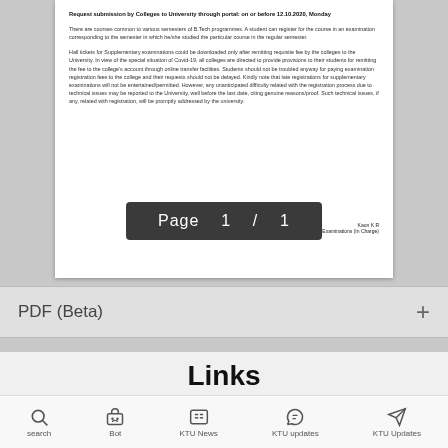Request submission by Colleges to University through portal: on or before 12.10.2020, Monday
There are courses common to various semesters of B.Tech programmes. A student can register for the course in an examination corresponding to the semester in which he/she studied the particular course in the regular semester.
Hall tickets for Supplementary examinations could be downloaded only after remitting requisite fee by the colleges to the University. In view of the special situation of Covid-19, all colleges are directed to provide provisions to their students for remitting the fee to the college's account through online transfer facilities. Students should not be troubled anyway for paying examination registration fees to the college and their requests should not be delayed. Kindly note that late registrations for supplementary examinations will not be entertained/permitted. However, any unanticipated difficulty related with the registration process due to technical issues may be reported to the University, well before the last date, citing genuine reasons/proof. Such technical issues, if any, related with registration, will be promptly addressed by the university.
Page 1 / 1
Kaon K R
Controller of Examinations (In Charge)
PDF (Beta)
Links
Notification
search  Bot  KTU News  KTU updates  KTU Updates